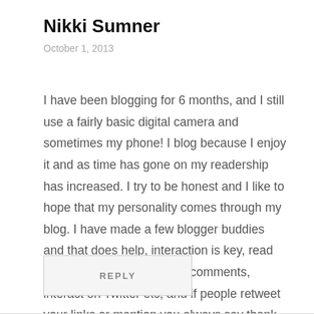Nikki Sumner
October 1, 2013
I have been blogging for 6 months, and I still use a fairly basic digital camera and sometimes my phone! I blog because I enjoy it and as time has gone on my readership has increased. I try to be honest and I like to hope that my personality comes through my blog. I have made a few blogger buddies and that does help, interaction is key, read other peoples blogs, leave comments, interact on Twitter etc, and if people retweet your links or mention you always say thank you- politeness goes a long way! x
REPLY